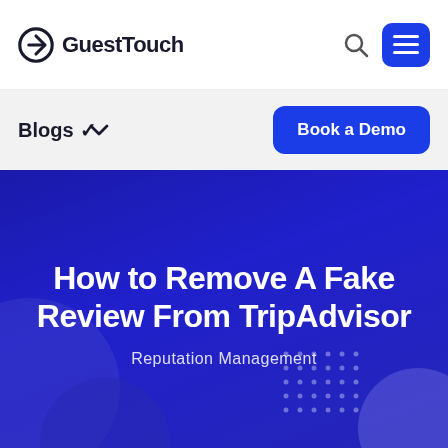GuestTouch
Blogs
Book a Demo
How to Remove A Fake Review From TripAdvisor
Reputation Management